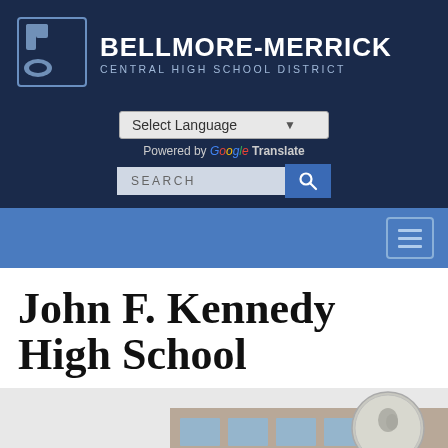[Figure (logo): Bellmore-Merrick Central High School District logo with stylized 'bm' letters and school crest]
BELLMORE-MERRICK
CENTRAL HIGH SCHOOL DISTRICT
Select Language | Powered by Google Translate
SEARCH
John F. Kennedy High School
[Figure (photo): Exterior photo of John F. Kennedy High School building with JFK coin medallion overlay]